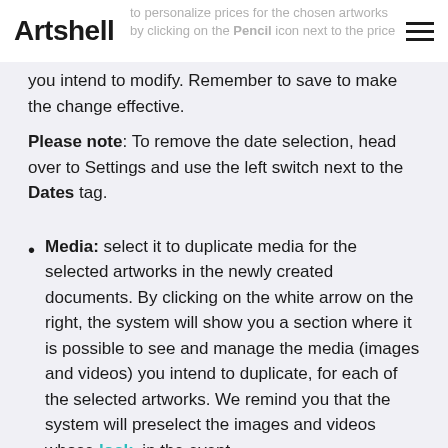Artshell
to personalize prices for the chosen artworks by clicking on the Pencil icon next to the price you intend to modify. Remember to save to make the change effective.
Please note: To remove the date selection, head over to Settings and use the left switch next to the Dates tag.
Media: select it to duplicate media for the selected artworks in the newly created documents. By clicking on the white arrow on the right, the system will show you a section where it is possible to see and manage the media (images and videos) you intend to duplicate, for each of the selected artworks. We remind you that the system will preselect the images and videos whose lock, in the event